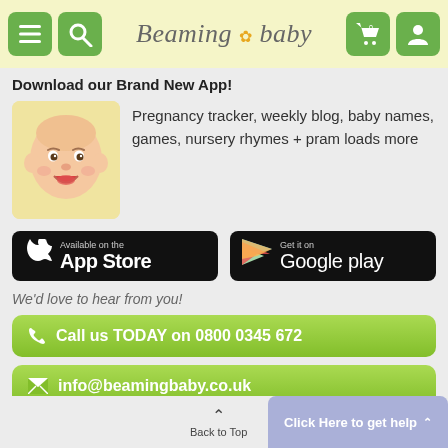[Figure (logo): Beaming Baby logo with hamburger menu, search, cart, and profile icons in green rounded square buttons. Logo text in italic serif font with a small flower icon.]
Download our Brand New App!
[Figure (photo): Smiling baby photo in a yellow-tinted rounded rectangle frame]
Pregnancy tracker, weekly blog, baby names, games, nursery rhymes + pram loads more
[Figure (screenshot): App Store button - Available on the App Store with Apple logo]
[Figure (screenshot): Google Play button - Get it on Google play with Play Store triangle logo]
We'd love to hear from you!
Call us TODAY on 0800 0345 672
info@beamingbaby.co.uk
Back to Top
Click Here to get help